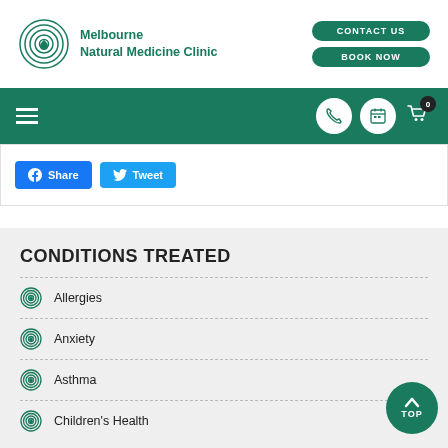[Figure (logo): Melbourne Natural Medicine Clinic logo with concentric circle spiral icon in teal]
Melbourne Natural Medicine Clinic
[Figure (screenshot): Navigation bar with hamburger menu, phone icon, booking icon, and cart with badge 0]
[Figure (screenshot): Facebook Share and Twitter Tweet buttons]
CONDITIONS TREATED
Allergies
Anxiety
Asthma
Children's Health